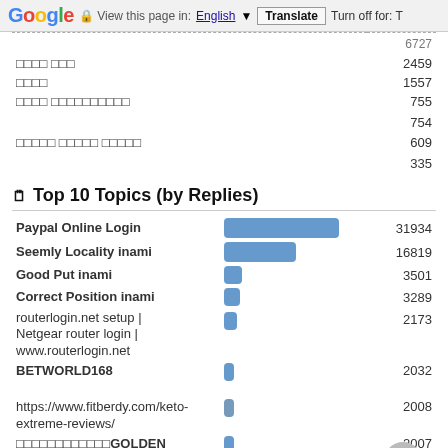Google  View this page in: English [▼]  Translate  Turn off for: T
| Topic | Count |
| --- | --- |
| [garbled] | 6727 |
| [garbled text] | 2459 |
| [garbled] | 1557 |
| [garbled text long] | 755 |
| [garbled text] | 754 |
| [garbled text longer] | 609 |
| [garbled text] | 335 |
Top 10 Topics (by Replies)
| Topic | Bar | Replies |
| --- | --- | --- |
| Paypal Online Login |  | 31934 |
| Seemly Locality inami |  | 16819 |
| Good Put inami |  | 3501 |
| Correct Position inami |  | 3289 |
| routerlogin.net setup | Netgear router login | www.routerlogin.net |  | 2173 |
| BETWORLD168 [garbled] |  | 2032 |
| https://www.fitberdy.com/keto-extreme-reviews/ |  | 2008 |
| [garbled]GOLDEN MONKEY |  | 2007 |